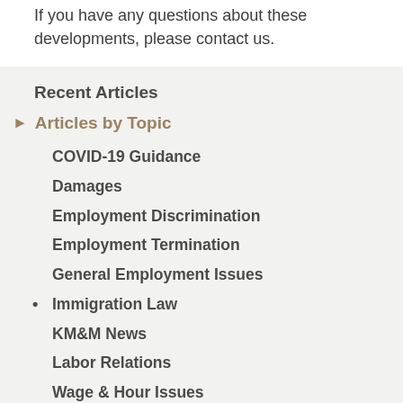If you have any questions about these developments, please contact us.
Recent Articles
▶ Articles by Topic
COVID-19 Guidance
Damages
Employment Discrimination
Employment Termination
General Employment Issues
• Immigration Law
KM&M News
Labor Relations
Wage & Hour Issues